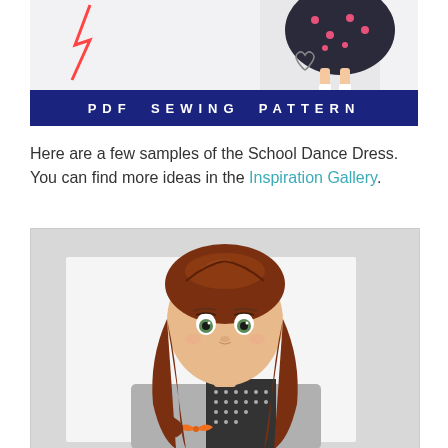[Figure (photo): Top portion of a doll wearing a dark skirt with polka dots and a heart design, partially cropped at the top of the page]
PDF SEWING PATTERN
Here are a few samples of the School Dance Dress. You can find more ideas in the Inspiration Gallery.
[Figure (photo): Close-up photo of an American Girl doll with long curly auburn hair and green eyes, wearing a grey and black dress with owl and polka dot fabric pattern]